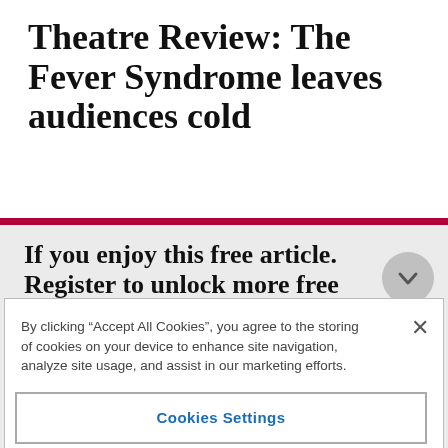Theatre Review: The Fever Syndrome leaves audiences cold
If you enjoy this free article. Register to unlock more free articles each month
By clicking “Accept All Cookies”, you agree to the storing of cookies on your device to enhance site navigation, analyze site usage, and assist in our marketing efforts.
Cookies Settings
Reject All
Accept All Cookies